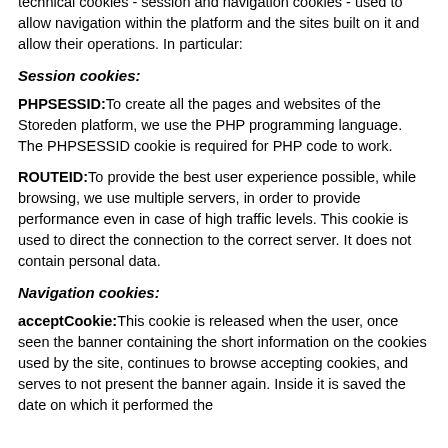technical cookies - session and navigation cookies - used to allow navigation within the platform and the sites built on it and allow their operations. In particular:
Session cookies:
PHPSESSID: To create all the pages and websites of the Storeden platform, we use the PHP programming language. The PHPSESSID cookie is required for PHP code to work.
ROUTEID: To provide the best user experience possible, while browsing, we use multiple servers, in order to provide performance even in case of high traffic levels. This cookie is used to direct the connection to the correct server. It does not contain personal data.
Navigation cookies:
acceptCookie: This cookie is released when the user, once seen the banner containing the short information on the cookies used by the site, continues to browse accepting cookies, and serves to not present the banner again. Inside it is saved the date on which it performed the